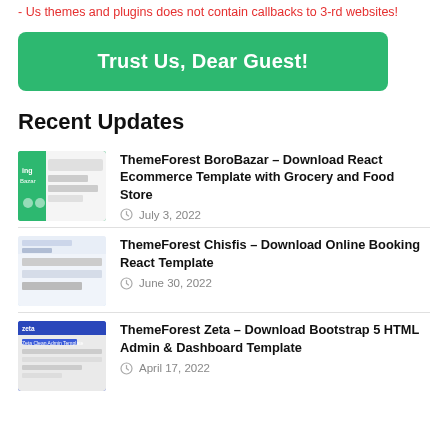- Us themes and plugins does not contain callbacks to 3-rd websites!
Trust Us, Dear Guest!
Recent Updates
ThemeForest BoroBazar – Download React Ecommerce Template with Grocery and Food Store
July 3, 2022
ThemeForest Chisfis – Download Online Booking React Template
June 30, 2022
ThemeForest Zeta – Download Bootstrap 5 HTML Admin & Dashboard Template
April 17, 2022